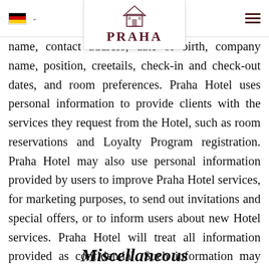Praha Hotel navigation bar with German flag selector and hamburger menu
[Figure (logo): Praha Hotel logo: building icon above the text PRAHA in dark red serif letters]
name, contact address, date of birth, company name, position, credit card details, check-in and check-out dates, and room preferences. Praha Hotel uses personal information to provide clients with the services they request from the Hotel, such as room reservations and Loyalty Program registration. Praha Hotel may also use personal information provided by users to improve Praha Hotel services, for marketing purposes, to send out invitations and special offers, or to inform users about new Hotel services. Praha Hotel will treat all information provided as confidential. Such information may also be provided to third parties in exceptional cases provided for by local law, but only with the permission of the user.
Miscellaneous